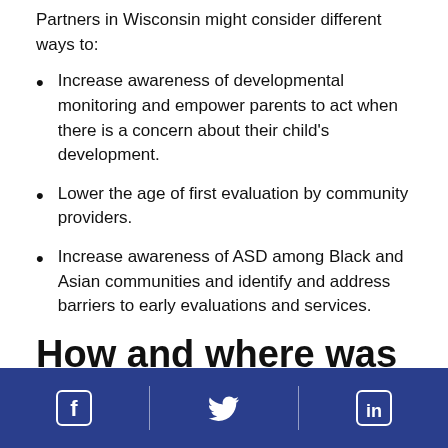Partners in Wisconsin might consider different ways to:
Increase awareness of developmental monitoring and empower parents to act when there is a concern about their child’s development.
Lower the age of first evaluation by community providers.
Increase awareness of ASD among Black and Asian communities and identify and address barriers to early evaluations and services.
How and where was this
[Facebook icon] [Twitter icon] [LinkedIn icon]